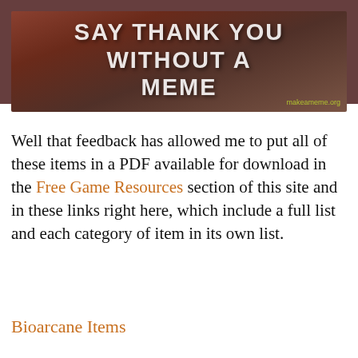WORLD BUILDER BLOG
[Figure (photo): Meme image with text 'SAY THANK YOU WITHOUT A MEME' overlaid on a dark photo background, with makeameme.org attribution]
Well that feedback has allowed me to put all of these items in a PDF available for download in the Free Game Resources section of this site and in these links right here, which include a full list and each category of item in its own list.
Bioarcane Items